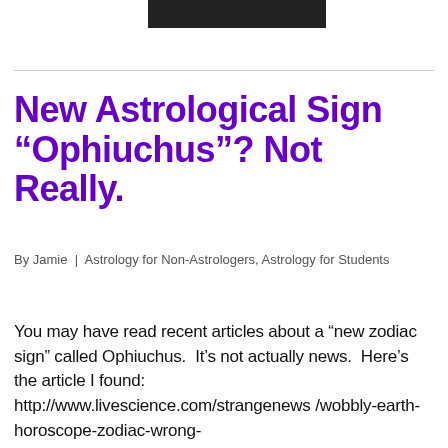New Astrological Sign “Ophiuchus”? Not Really.
By Jamie | Astrology for Non-Astrologers, Astrology for Students
You may have read recent articles about a “new zodiac sign” called Ophiuchus. It’s not actually news. Here’s the article I found: http://www.livescience.com/strangenews/wobbly-earth-horoscope-zodiac-wrong-